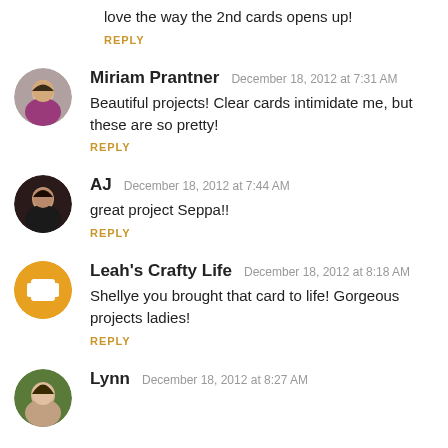love the way the 2nd cards opens up!
REPLY
Miriam Prantner  December 18, 2012 at 7:31 AM
Beautiful projects! Clear cards intimidate me, but these are so pretty!
REPLY
AJ  December 18, 2012 at 7:44 AM
great project Seppa!!
REPLY
Leah's Crafty Life  December 18, 2012 at 8:18 AM
Shellye you brought that card to life! Gorgeous projects ladies!
REPLY
Lynn  December 18, 2012 at 8:27 AM